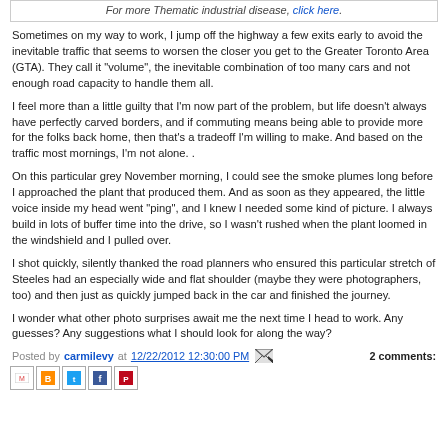For more Thematic industrial disease, click here.
Sometimes on my way to work, I jump off the highway a few exits early to avoid the inevitable traffic that seems to worsen the closer you get to the Greater Toronto Area (GTA). They call it "volume", the inevitable combination of too many cars and not enough road capacity to handle them all.
I feel more than a little guilty that I'm now part of the problem, but life doesn't always have perfectly carved borders, and if commuting means being able to provide more for the folks back home, then that's a tradeoff I'm willing to make. And based on the traffic most mornings, I'm not alone. .
On this particular grey November morning, I could see the smoke plumes long before I approached the plant that produced them. And as soon as they appeared, the little voice inside my head went "ping", and I knew I needed some kind of picture. I always build in lots of buffer time into the drive, so I wasn't rushed when the plant loomed in the windshield and I pulled over.
I shot quickly, silently thanked the road planners who ensured this particular stretch of Steeles had an especially wide and flat shoulder (maybe they were photographers, too) and then just as quickly jumped back in the car and finished the journey.
I wonder what other photo surprises await me the next time I head to work. Any guesses? Any suggestions what I should look for along the way?
Posted by carmilevy at 12/22/2012 12:30:00 PM  2 comments:
[Figure (other): Social sharing icons: Gmail, Blogger, Twitter, Facebook, Pinterest]